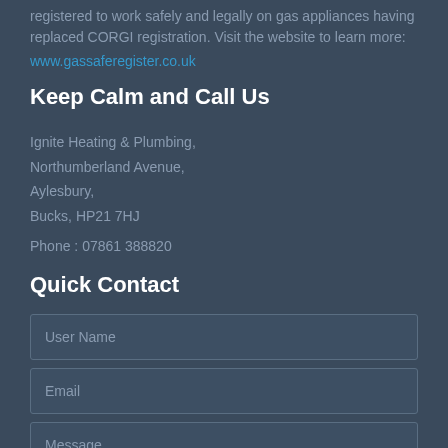registered to work safely and legally on gas appliances having replaced CORGI registration. Visit the website to learn more:
www.gassaferegister.co.uk
Keep Calm and Call Us
Ignite Heating & Plumbing,
Northumberland Avenue,
Aylesbury,
Bucks, HP21 7HJ
Phone : 07861 388820
Quick Contact
User Name
Email
Message